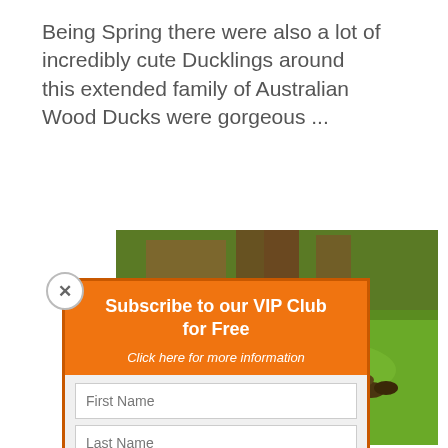Being Spring there were also a lot of incredibly cute Ducklings around this extended family of Australian Wood Ducks were gorgeous ...
[Figure (photo): Outdoor park photo showing green grass lawn with ducks, trees and wooden structures in background. Partial view overlaid by subscription popup.]
Subscribe to our VIP Club for Free
Click here for more information
First Name
Last Name
Email
SUBSCRIBE!
Privacy: We will never pass on your details to any third party
Park, Perth, Western